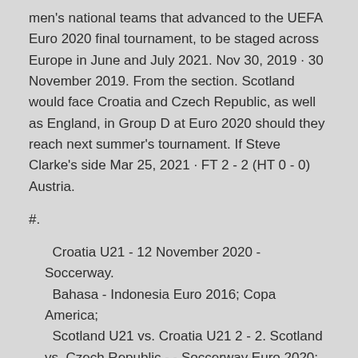men's national teams that advanced to the UEFA Euro 2020 final tournament, to be staged across Europe in June and July 2021. Nov 30, 2019 · 30 November 2019. From the section. Scotland would face Croatia and Czech Republic, as well as England, in Group D at Euro 2020 should they reach next summer's tournament. If Steve Clarke's side Mar 25, 2021 · FT 2 - 2 (HT 0 - 0) Austria.
#.
Croatia U21 - 12 November 2020 - Soccerway.
Bahasa - Indonesia Euro 2016; Copa America;
Scotland U21 vs. Croatia U21 2 - 2. Scotland vs. Czech Republic - - Soccerway Euro 2020; Copa America; Gold Cup; Soccerway; Soccerway Women; Premier League; Serie A; Scotland.